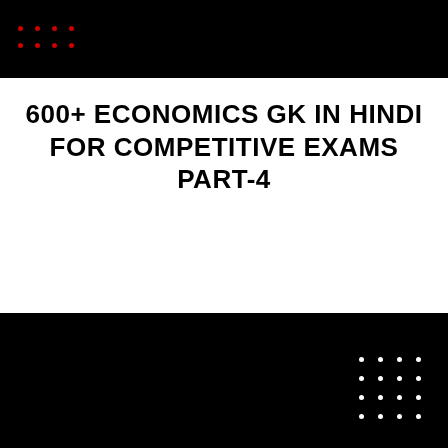[Figure (other): Black banner at top with a 4x2 grid of red dots on the left side]
600+ ECONOMICS GK IN HINDI FOR COMPETITIVE EXAMS PART-4
[Figure (other): Black banner at bottom with a 4x4 grid of white dots on the right side]